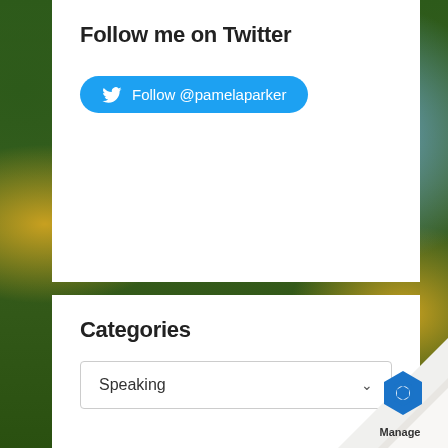Follow me on Twitter
Follow @pamelaparker
Categories
Speaking
Archives
Select Month
[Figure (logo): Manage logo with blue hexagon icon in bottom right corner page fold]